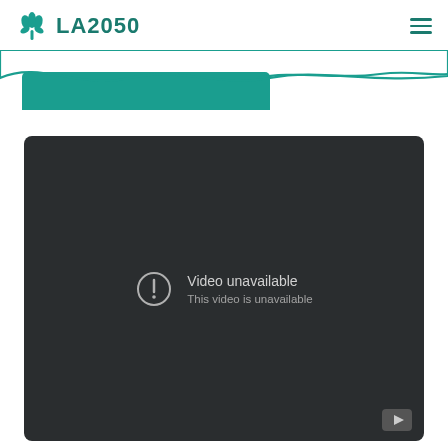LA2050
[Figure (screenshot): LA2050 website header with logo (green flower icon) and 'LA2050' text in green, with hamburger menu icon on the right. Below is a teal/green wave decorative element with a teal bar. Below that is a YouTube video embed showing 'Video unavailable - This video is unavailable' error message on a dark background, with YouTube icon at bottom right.]